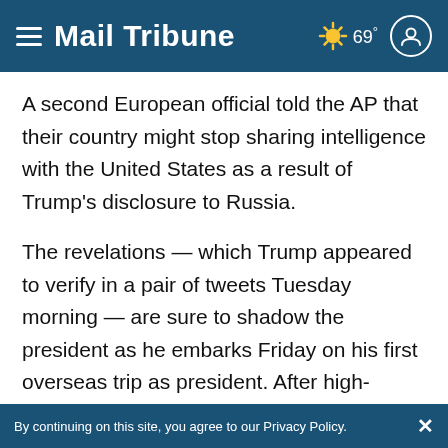Mail Tribune | ☀ 69°
A second European official told the AP that their country might stop sharing intelligence with the United States as a result of Trump's disclosure to Russia.
The revelations — which Trump appeared to verify in a pair of tweets Tuesday morning — are sure to shadow the president as he embarks Friday on his first overseas trip as president. After high-stakes visits to Saudi Arabia, Israel and the Vatican, he'll meet some
By continuing on this site, you agree to our Privacy Policy.